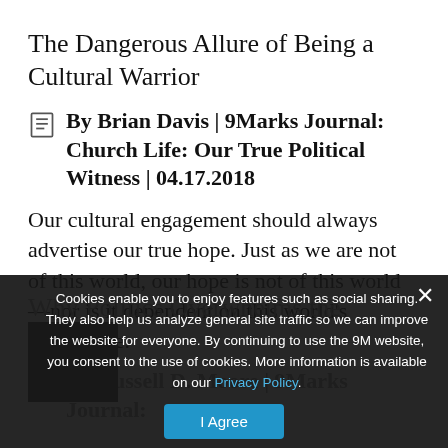The Dangerous Allure of Being a Cultural Warrior
By Brian Davis | 9Marks Journal: Church Life: Our True Political Witness | 04.17.2018
Our cultural engagement should always advertise our true hope. Just as we are not of this world, our hope is not of this world—nor is it dependent on this world's acceptance.
[Figure (screenshot): Cookie consent banner overlay with close button (×), text about cookies and privacy policy link, and an I Agree button]
Why Politics Overwhelms the Church
By Russell D. Moore | 9Marks Journal: Church Life: Our True Political Witness | ...